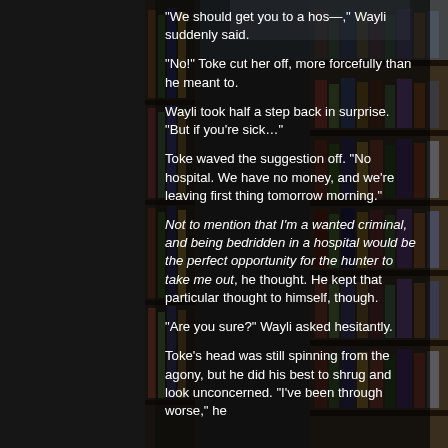[Figure (photo): Library shelves filled with books, with a bright windowed ceiling visible in the background, serving as a background image for the page.]
“We should get you to a hos—,” Wayli suddenly said.
“No!” Toke cut her off, more forcefully than he meant to.
Wayli took half a step back in surprise. “But if you're sick…”
Toke waved the suggestion off. “No hospital. We have no money, and we’re leaving first thing tomorrow morning.”
Not to mention that I'm a wanted criminal, and being bedridden in a hospital would be the perfect opportunity for the hunter to take me out, he thought. He kept that particular thought to himself, though.
“Are you sure?” Wayli asked hesitantly.
Toke’s head was still spinning from the agony, but he did his best to shrug and look unconcerned. “I’ve been through worse,” he